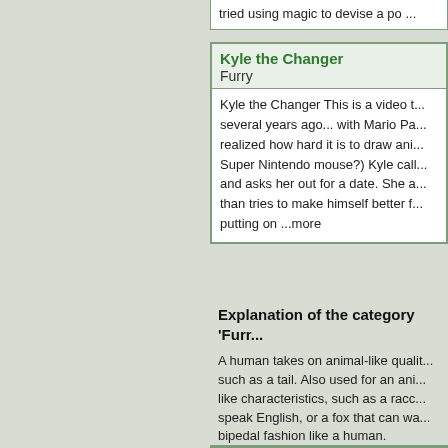tried using magic to devise a po ...
Kyle the Changer
Furry
Kyle the Changer This is a video t... several years ago... with Mario Pa... realized how hard it is to draw ani... Super Nintendo mouse?) Kyle call... and asks her out for a date. She a... than tries to make himself better f... putting on ...more
Explanation of the category 'Furr...
A human takes on animal-like quali... such as a tail. Also used for an ani... like characteristics, such as a racc... speak English, or a fox that can wa... bipedal fashion like a human.
Also known as Anthromorphic or An...
[Edit this Page]